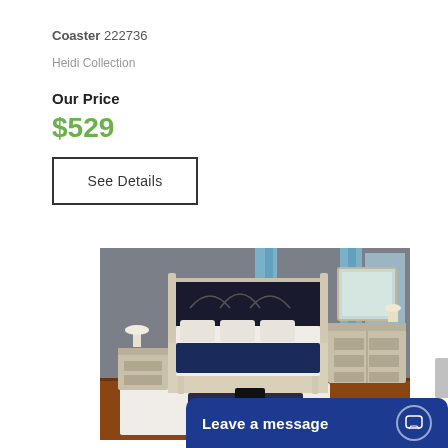Coaster 222736
Heidi Collection
Our Price
$529
See Details
[Figure (photo): Bedroom furniture set including a tufted black headboard bed with silver/champagne frame, two nightstands, dresser with mirror, and bench at foot of bed, displayed in a room with gray walls, blue curtains, and hardwood floors with white area rug]
Leave a message